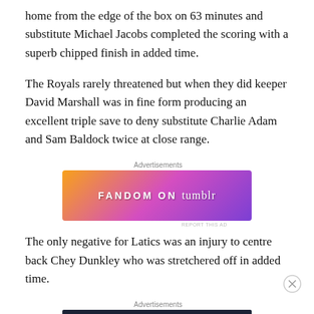home from the edge of the box on 63 minutes and substitute Michael Jacobs completed the scoring with a superb chipped finish in added time.
The Royals rarely threatened but when they did keeper David Marshall was in fine form producing an excellent triple save to deny substitute Charlie Adam and Sam Baldock twice at close range.
[Figure (other): Fandom on Tumblr advertisement banner with colorful gradient background (orange to purple), featuring the text FANDOM ON tumblr in white letters with decorative elements]
The only negative for Latics was an injury to centre back Chey Dunkley who was stretchered off in added time.
[Figure (other): Opinions. We all have them! advertisement banner with dark navy background featuring WordPress and News Now logos]